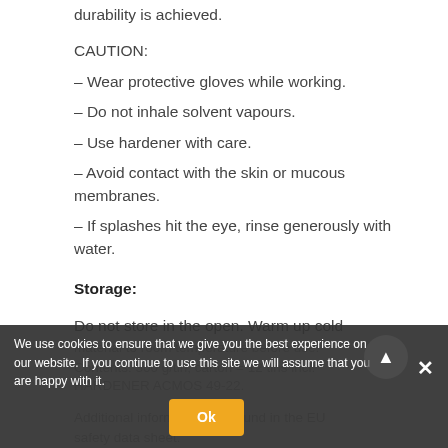durability is achieved.
CAUTION:
– Wear protective gloves while working.
– Do not inhale solvent vapours.
– Use hardener with care.
– Avoid contact with the skin or mucous membranes.
– If splashes hit the eye, rinse generously with water.
Storage:
Do not store in the open. Warm up cold material to room temperature before use.
Contents: 300 g/tin; carton = 12 tins incl. HARDENER ACMOS 49-22.
Additional information can be found in the EU safety data sheet.